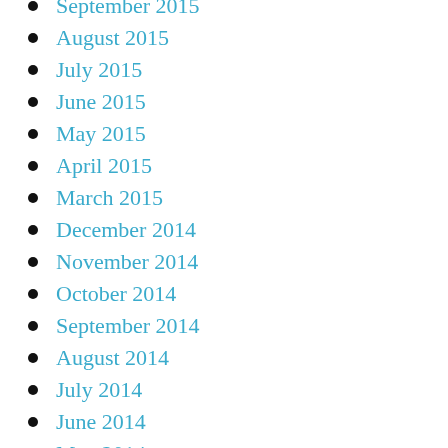September 2015
August 2015
July 2015
June 2015
May 2015
April 2015
March 2015
December 2014
November 2014
October 2014
September 2014
August 2014
July 2014
June 2014
May 2014
April 2014